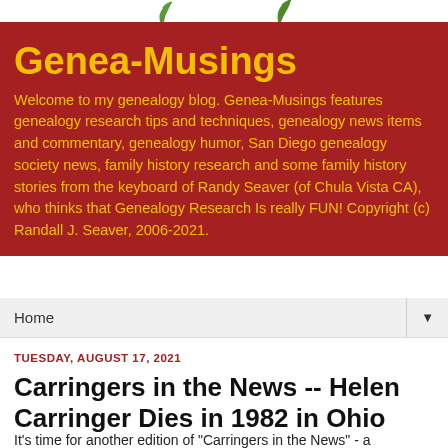[Figure (illustration): White background area with two decorative plant/leaf illustrations — one curling green stem on the left and one green leaf on the right]
Genea-Musings
Welcome to my genealogy blog. Genea-Musings features genealogy research tips and techniques, genealogy news items and commentary, genealogy humor, San Diego genealogy society news, family history research and some family history stories from the keyboard of Randy Seaver (of Chula Vista CA), who thinks that Genealogy Research Is really FUN! Copyright (c) Randall J. Seaver, 2006-2021.
Home ▼
TUESDAY, AUGUST 17, 2021
Carringers in the News -- Helen Carringer Dies in 1982 in Ohio
It's time for another edition of "Carringers in the News" - a